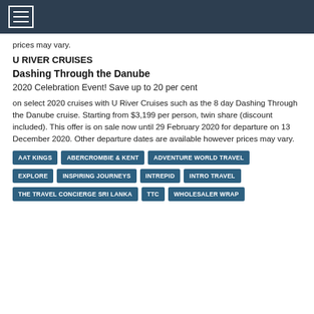prices may vary.
U RIVER CRUISES
Dashing Through the Danube
2020 Celebration Event! Save up to 20 per cent
on select 2020 cruises with U River Cruises such as the 8 day Dashing Through the Danube cruise. Starting from $3,199 per person, twin share (discount included). This offer is on sale now until 29 February 2020 for departure on 13 December 2020. Other departure dates are available however prices may vary.
AAT KINGS
ABERCROMBIE & KENT
ADVENTURE WORLD TRAVEL
EXPLORE
INSPIRING JOURNEYS
INTREPID
INTRO TRAVEL
THE TRAVEL CONCIERGE SRI LANKA
TTC
WHOLESALER WRAP